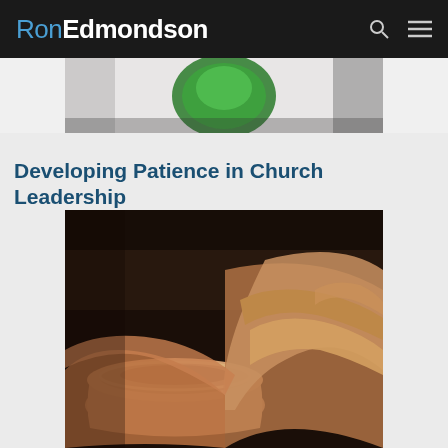RonEdmondson
[Figure (photo): Partial cropped image at top showing green circular element on white/grey background]
Developing Patience in Church Leadership
[Figure (photo): Sepia-toned photograph of hands shaping clay on a pottery wheel, with a ceramic bowl/cup visible in the foreground]